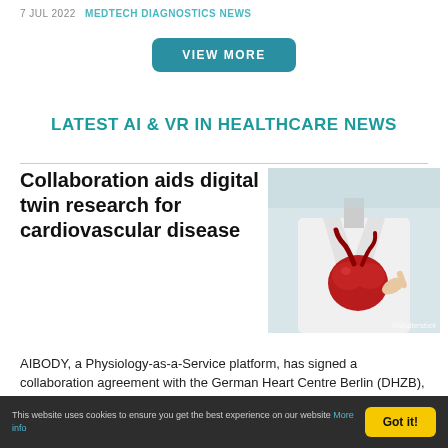7 JUL 2022   MEDTECH DIAGNOSTICS NEWS
[Figure (other): Teal rounded rectangle button with white uppercase text VIEW MORE]
LATEST AI & VR IN HEALTHCARE NEWS
Collaboration aids digital twin research for cardiovascular disease
[Figure (photo): Doctor in white coat holding a red anatomical heart model, Shutterstock watermark]
AIBODY, a Physiology-as-a-Service platform, has signed a collaboration agreement with the German Heart Centre Berlin (DHZB), a medical research institute specialising in
This website uses cookies to ensure you get the best experience on our website More info  Got it!